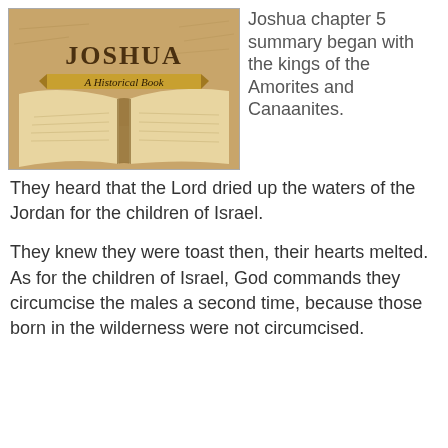[Figure (illustration): Book cover image for Joshua: A Historical Book, showing an open ancient Bible with parchment-style background and handwritten text. The title JOSHUA appears prominently in large dark letters, with subtitle 'A Historical Book' on a ribbon banner.]
Joshua chapter 5 summary began with the kings of the Amorites and Canaanites. They heard that the Lord dried up the waters of the Jordan for the children of Israel.
They knew they were toast then, their hearts melted. As for the children of Israel, God commands they circumcise the males a second time, because those born in the wilderness were not circumcised.